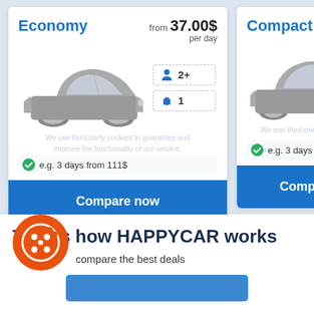Economy
from 37.00$ per day
[Figure (photo): Gray economy hatchback car (Ford Fiesta style) shown from front-left angle, black and white/grayscale]
2+ passengers, 1 luggage
e.g. 3 days from 111$
Compare now
Compact
[Figure (photo): Gray compact station wagon car shown from front-left angle, grayscale]
e.g. 3 days from 1...
Compare
This is how HAPPYCAR works
W... compare the best deals
[Figure (logo): Orange cookie consent icon - orange circle with cookie/biscuit icon in white]